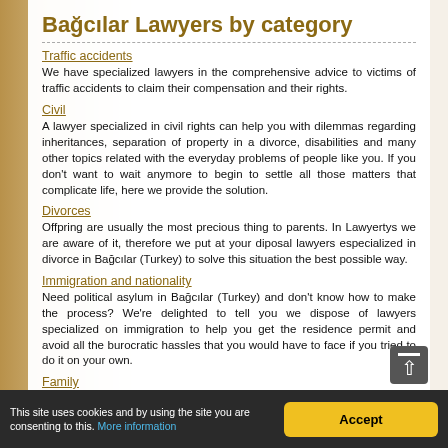Bağcılar Lawyers by category
Traffic accidents
We have specialized lawyers in the comprehensive advice to victims of traffic accidents to claim their compensation and their rights.
Civil
A lawyer specialized in civil rights can help you with dilemmas regarding inheritances, separation of property in a divorce, disabilities and many other topics related with the everyday problems of people like you. If you don't want to wait anymore to begin to settle all those matters that complicate life, here we provide the solution.
Divorces
Offpring are usually the most precious thing to parents. In Lawyertys we are aware of it, therefore we put at your diposal lawyers especialized in divorce in Bağcılar (Turkey) to solve this situation the best possible way.
Immigration and nationality
Need political asylum in Bağcılar (Turkey) and don't know how to make the process? We're delighted to tell you we dispose of lawyers specialized on immigration to help you get the residence permit and avoid all the burocratic hassles that you would have to face if you tried to do it on your own.
Family
Problems within the family can result to be very stressful. Look in Bağcılar (Turkey) for the ideal family lawyer to tell you what coordenates to follow and make care of solving all your problems. Don't damage your mental health anymore
This site uses cookies and by using the site you are consenting to this. More information Accept